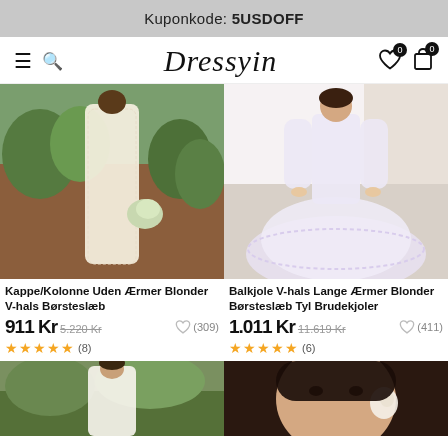Kuponkode: 5USDOFF
[Figure (screenshot): Dressyin e-commerce website navigation bar with hamburger menu, search icon, Dressyin logo, heart wishlist icon with badge 0, and cart icon with badge 0]
[Figure (photo): Wedding dress - Kappe/Kolonne style, lace, sleeveless, V-neck, brush train, worn outdoors in garden setting]
Kappe/Kolonne Uden Ærmer Blonder V-hals Børsteslæb
911 Kr 5.220 Kr (309) ★★★★★ (8)
[Figure (photo): Wedding dress - Balkjole style, V-neck, long sleeves, lace, brush train, tulle, worn indoors]
Balkjole V-hals Lange Ærmer Blonder Børsteslæb Tyl Brudekjoler
1.011 Kr 11.619 Kr (411) ★★★★★ (6)
[Figure (photo): Bottom left partial product photo - bride in white dress outdoors under tree]
[Figure (photo): Bottom right partial product photo - woman wearing white lace accessories, close-up portrait]